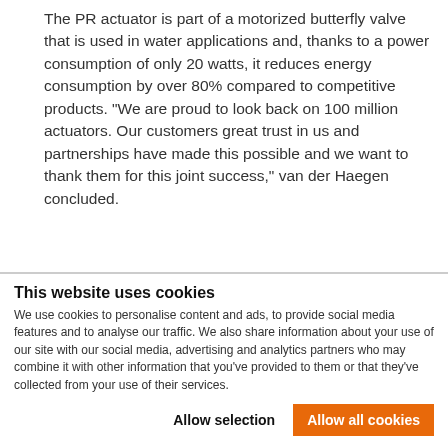The PR actuator is part of a motorized butterfly valve that is used in water applications and, thanks to a power consumption of only 20 watts, it reduces energy consumption by over 80% compared to competitive products. "We are proud to look back on 100 million actuators. Our customers great trust in us and partnerships have made this possible and we want to thank them for this joint success," van der Haegen concluded.
100 million Belimo actuators
Pressrelease - 15. January 2020 Belimo sets 100 Million Milestone (pdf - 118 KB)
This website uses cookies
We use cookies to personalise content and ads, to provide social media features and to analyse our traffic. We also share information about your use of our site with our social media, advertising and analytics partners who may combine it with other information that you've provided to them or that they've collected from your use of their services.